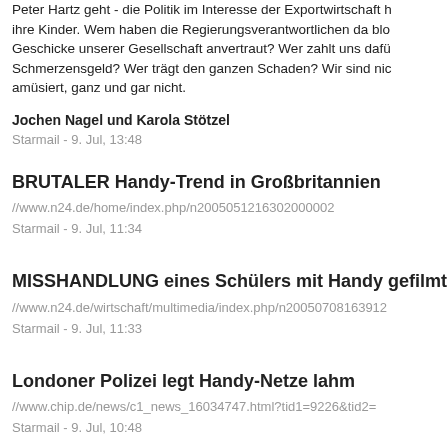Peter Hartz geht - die Politik im Interesse der Exportwirtschaft h ihre Kinder. Wem haben die Regierungsverantwortlichen da blo Geschicke unserer Gesellschaft anvertraut? Wer zahlt uns dafü Schmerzensgeld? Wer trägt den ganzen Schaden? Wir sind nic amüsiert, ganz und gar nicht.
Jochen Nagel und Karola Stötzel
Starmail - 9. Jul, 13:48
BRUTALER Handy-Trend in Großbritannien
//www.n24.de/home/index.php/n2005051216302000002
Starmail - 9. Jul, 11:34
MISSHANDLUNG eines Schülers mit Handy gefilmt
//www.n24.de/wirtschaft/multimedia/index.php/n20050708163912
Starmail - 9. Jul, 11:33
Londoner Polizei legt Handy-Netze lahm
//www.chip.de/news/c1_news_16034747.html?tid1=9226&tid2=
Starmail - 9. Jul, 10:48